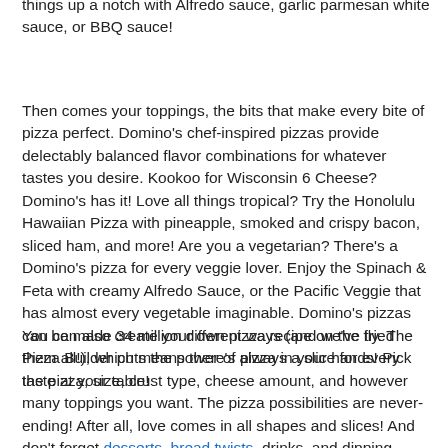things up a notch with Alfredo sauce, garlic parmesan white sauce, or BBQ sauce!
Then comes your toppings, the bits that make every bite of pizza perfect. Domino's chef-inspired pizzas provide delectably balanced flavor combinations for whatever tastes you desire. Kookoo for Wisconsin 6 Cheese? Domino's has it! Love all things tropical? Try the Honolulu Hawaiian Pizza with pineapple, smoked and crispy bacon, sliced ham, and more! Are you a vegetarian? There's a Domino's pizza for every veggie lover. Enjoy the Spinach & Feta with creamy Alfredo Sauce, or the Pacific Veggie that has almost every vegetable imaginable. Domino's pizzas can be made 34 million different ways (and we've tried them all!), which means there's always a slice for every taste at your table!
You can also create your own pizza recipe on the fly. The Pizza Builder puts the power of pizza in your hands! Pick the pizza, size, crust type, cheese amount, and however many toppings you want. The pizza possibilities are never-ending! After all, love comes in all shapes and slices! And don't forget desserts, bread twists, drinks, and dipping sauces to hit all the Domino's food groups. Finish your order and get excited. It's okay to drool a little